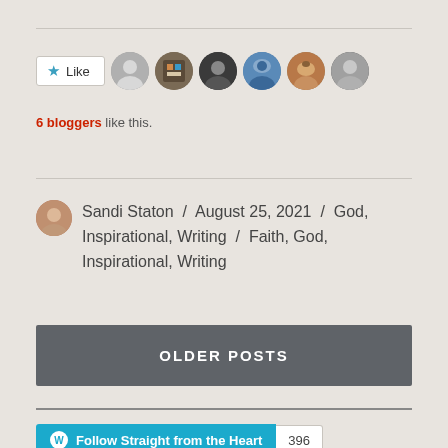[Figure (screenshot): Like button with star icon and 6 blogger avatar thumbnails displayed in a row]
6 bloggers like this.
Sandi Staton / August 25, 2021 / God, Inspirational, Writing / Faith, God, Inspirational, Writing
OLDER POSTS
Follow Straight from the Heart 396